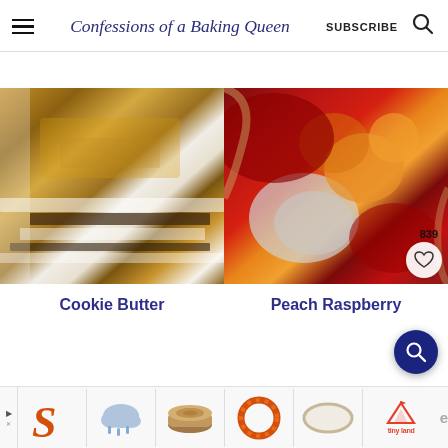Confessions of a Baking Queen | SUBSCRIBE
[Figure (photo): Close-up photo of stacked s'mores cookie butter bars showing layers of golden-brown cookie, marshmallow, and chocolate]
[Figure (photo): Close-up overhead photo of a peach raspberry galette with deep red raspberry sauce and golden peach slices on parchment paper]
Cookie Butter
Peach Raspberry
[Figure (screenshot): Advertisement banner at the bottom showing decorative items: an orange S letter, a rain cloud illustration, wooden logs, an orange wreath, a white oval, and Tiny Land logo]